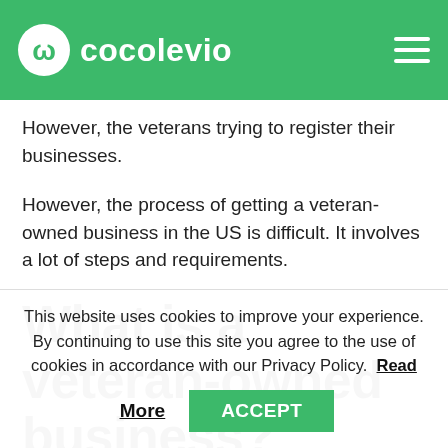cocolevio
However, the veterans trying to register their businesses.
However, the process of getting a veteran-owned business in the US is difficult. It involves a lot of steps and requirements.
What is a veteran-owned business?
Veteran-owned businesses are small business
This website uses cookies to improve your experience. By continuing to use this site you agree to the use of cookies in accordance with our Privacy Policy. Read More
ACCEPT